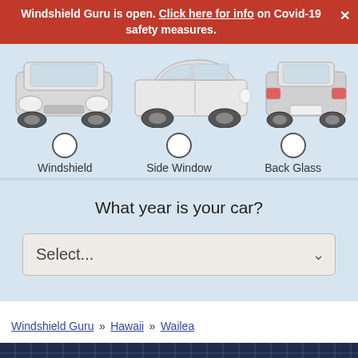Windshield Guru is open. Click here for info on Covid-19 safety measures.
[Figure (illustration): Three car option selectors showing front view, side view, and rear view of cars with radio buttons and labels: Windshield, Side Window, Back Glass]
What year is your car?
Select...
Windshield Guru » Hawaii » Wailea
We use cookies to enhance your experience. Cookie settings